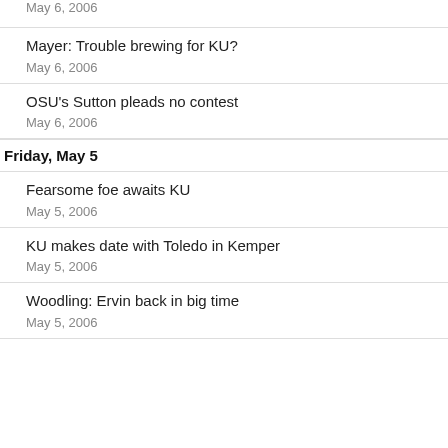May 6, 2006
Mayer: Trouble brewing for KU?
May 6, 2006
OSU's Sutton pleads no contest
May 6, 2006
Friday, May 5
Fearsome foe awaits KU
May 5, 2006
KU makes date with Toledo in Kemper
May 5, 2006
Woodling: Ervin back in big time
May 5, 2006